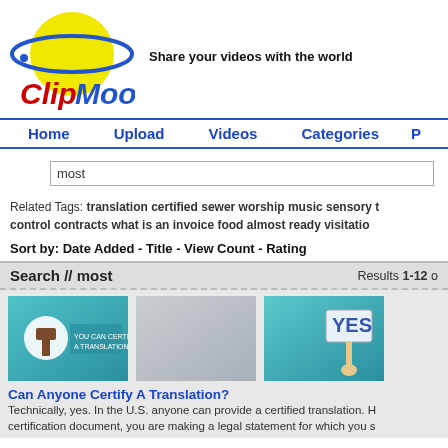[Figure (logo): ClipMoon logo with yellow planet, blue ring, and red text 'ClipMoon']
Share your videos with the world
Home   Upload   Videos   Categories   P
most
Related Tags: translation certified sewer worship music sensory control contracts what is an invoice food almost ready visitation
Sort by: Date Added - Title - View Count - Rating
Search // most   Results 1-12
[Figure (screenshot): Video thumbnail showing a gavel icon on teal background with text overlay]
[Figure (screenshot): Video thumbnail placeholder - gray/teal gradient]
[Figure (screenshot): Video thumbnail showing a hand holding YES sign on teal background]
Can Anyone Certify A Translation?
Technically, yes. In the U.S. anyone can provide a certified translation. H certification document, you are making a legal statement for which you